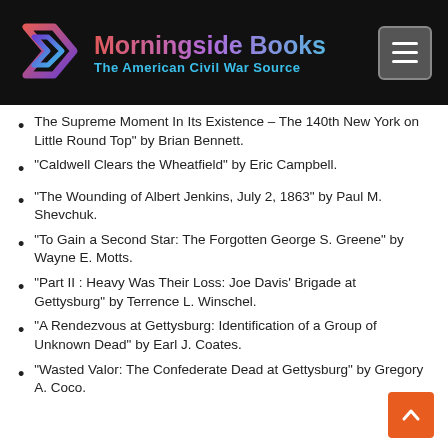Morningside Books – The American Civil War Source
The Supreme Moment In Its Existence – The 140th New York on Little Round Top" by Brian Bennett.
"Caldwell Clears the Wheatfield" by Eric Campbell.
"The Wounding of Albert Jenkins, July 2, 1863" by Paul M. Shevchuk.
"To Gain a Second Star: The Forgotten George S. Greene" by Wayne E. Motts.
"Part II : Heavy Was Their Loss: Joe Davis' Brigade at Gettysburg" by Terrence L. Winschel.
"A Rendezvous at Gettysburg: Identification of a Group of Unknown Dead" by Earl J. Coates.
"Wasted Valor: The Confederate Dead at Gettysburg" by Gregory A. Coco.